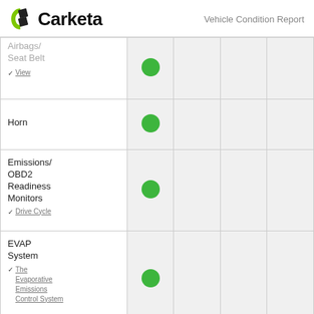Carketa — Vehicle Condition Report
| Item | Col1 | Col2 | Col3 | Col4 |
| --- | --- | --- | --- | --- |
| Airbags/ Seat Belt ✓ View | ● |  |  |  |
| Horn | ● |  |  |  |
| Emissions/ OBD2 Readiness Monitors ✓ Drive Cycle | ● |  |  |  |
| EVAP System ✓ The Evaporative Emissions Control System | ● |  |  |  |